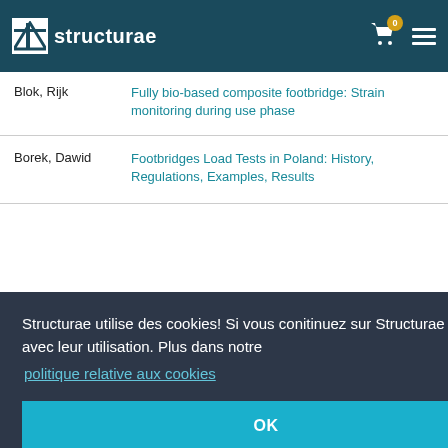Structurae [logo] | Cart (0) | Menu
| Author | Title |
| --- | --- |
| Blok, Rijk | Fully bio-based composite footbridge: Strain monitoring during use phase |
| Borek, Dawid | Footbridges Load Tests in Poland: History, Regulations, Examples, Results |
Structurae utilise des cookies! Si vous conitinuez sur Structurae vous êtes d'accord avec leur utilisation. Plus dans notre politique relative aux cookies
OK